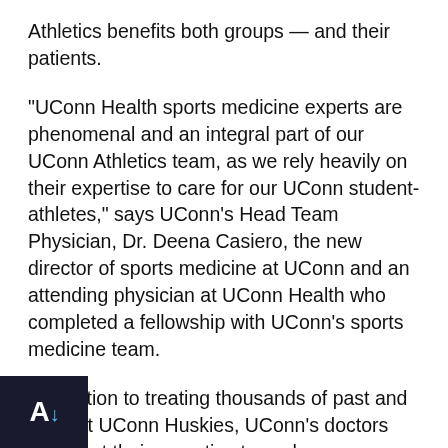Athletics benefits both groups — and their patients.
“UConn Health sports medicine experts are phenomenal and an integral part of our UConn Athletics team, as we rely heavily on their expertise to care for our UConn student-athletes,” says UConn’s Head Team Physician, Dr. Deena Casiero, the new director of sports medicine at UConn and an attending physician at UConn Health who completed a fellowship with UConn’s sports medicine team.
In addition to treating thousands of past and present UConn Huskies, UConn’s doctors have lent their expertise to such organizations as USA Hockey, the Hartford Whalers, the U.S. Open Tennis Championships, and the New York Islanders as team docs. What’s more, they are also all professors in the UConn School of Medicine’s Department of Orthopaedic Surgery, and all perform